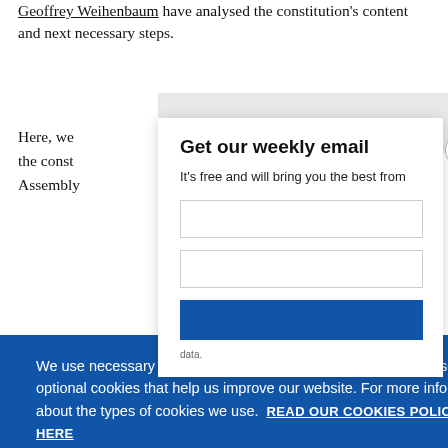Geoffrey Weihenbaum have analysed the constitution's content and next necessary steps.
Here, we [partially obscured text] the consti[tution] Assembly[...]
[Figure (screenshot): Email subscription modal overlay titled 'Get our weekly email' with subtitle 'It’s free and will bring you the best from', a close button (X) in the top right corner, two input fields, a subscribe button, and small footer text about data.]
We use necessary cookies that allow our site to work. We also set optional cookies that help us improve our website. For more information about the types of cookies we use. READ OUR COOKIES POLICY HERE
COOKIE SETTINGS
ALLOW ALL COOKIES
Under the[...]